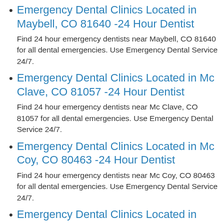Emergency Dental Clinics Located in Maybell, CO 81640 -24 Hour Dentist
Find 24 hour emergency dentists near Maybell, CO 81640 for all dental emergencies. Use Emergency Dental Service 24/7.
Emergency Dental Clinics Located in Mc Clave, CO 81057 -24 Hour Dentist
Find 24 hour emergency dentists near Mc Clave, CO 81057 for all dental emergencies. Use Emergency Dental Service 24/7.
Emergency Dental Clinics Located in Mc Coy, CO 80463 -24 Hour Dentist
Find 24 hour emergency dentists near Mc Coy, CO 80463 for all dental emergencies. Use Emergency Dental Service 24/7.
Emergency Dental Clinics Located in Mead, CO 80542 -24 Hour Dentist
Find 24 hour emergency dentists near Mead, CO 80542 for all dental emergencies. Use Emergency Dental Service 24/7.